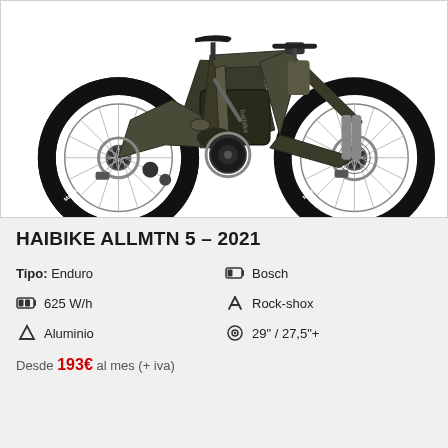[Figure (photo): Haibike ALLMTN 5 electric mountain bike in dark olive/khaki color, full suspension, shown in profile view on white background. Maxxis tires, Rock-shox suspension, motor visible at crank area.]
HAIBIKE ALLMTN 5 – 2021
Tipo: Enduro
625 W/h
Aluminio
Bosch
Rock-shox
29" / 27,5"+
Desde 193€ al mes (+ iva)